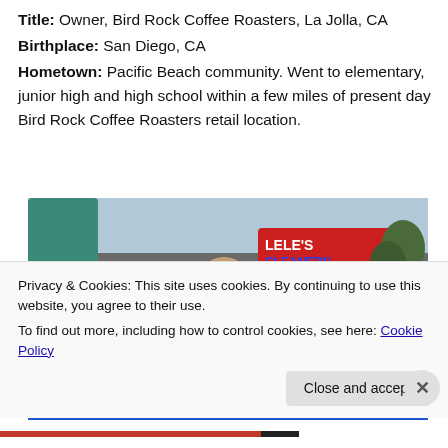Title: Owner, Bird Rock Coffee Roasters, La Jolla, CA
Birthplace: San Diego, CA
Hometown: Pacific Beach community. Went to elementary, junior high and high school within a few miles of present day Bird Rock Coffee Roasters retail location.
[Figure (photo): A young man jumping on a large inflatable attraction outside a strip mall with a sign reading LELE'S CLEANERS in the background. The inflatable is white and blue.]
Privacy & Cookies: This site uses cookies. By continuing to use this website, you agree to their use.
To find out more, including how to control cookies, see here: Cookie Policy
Close and accept